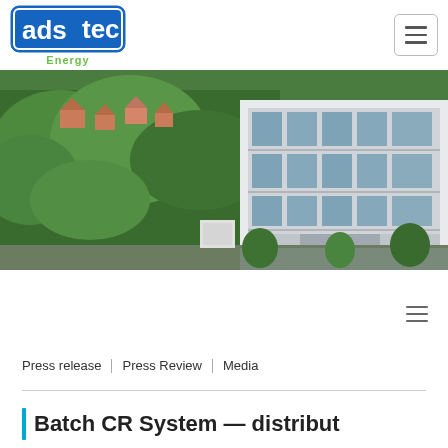[Figure (logo): ads-tec Energy logo with blue rounded rectangle containing 'ads' and white 'tec', with 'Energy' in green below]
[Figure (photo): Aerial/elevated photo of a modern multi-story glass office building surrounded by lush green trees, residential houses visible in background]
[Figure (other): Hamburger menu icon (three horizontal lines) in a bordered box]
[Figure (other): Hamburger menu icon (three horizontal lines), smaller, no border]
Press release | Press Review | Media
Batch CR System — distribut…